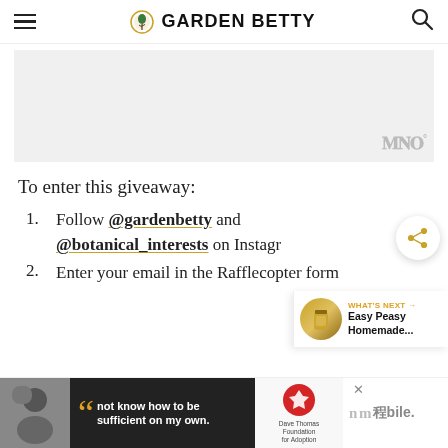GARDEN BETTY
[Figure (other): Advertisement placeholder block, gray background with watermark logo]
To enter this giveaway:
Follow @gardenbetty and @botanical_interests on Instagram
Enter your email in the Rafflecopter form
[Figure (other): What's Next panel showing Easy Peasy Homemade... with a jar image]
[Figure (other): Bottom advertisement banner with quote: not know how to be sufficient on my own. Dave Thomas Foundation for Adoption logo.]